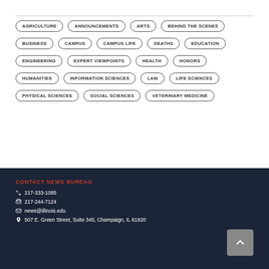AGRICULTURE
ANNOUNCEMENTS
ARTS
BEHIND THE SCENES
BUSINESS
CAMPUS
CAMPUS LIFE
DEATHS
EDUCATION
ENGINEERING
EXPERT VIEWPOINTS
HEALTH
HONORS
HUMANITIES
INFORMATION SCIENCES
LAW
LIFE SCIENCES
PHYSICAL SCIENCES
SOCIAL SCIENCES
VETERINARY MEDICINE
CONTACT NEWS BUREAU
217-333-1085
217-244-7124
news@illinois.edu
507 E. Green Street, Suite 345, Champaign, IL 61820